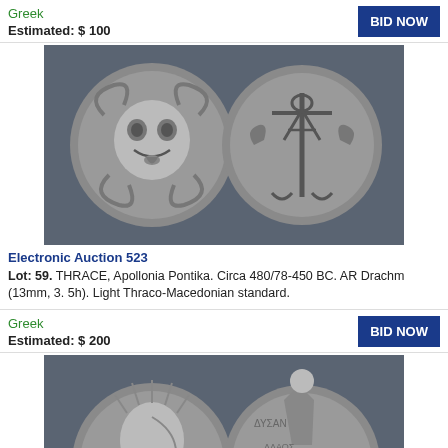Greek
Estimated: $ 100
[Figure (photo): Two sides of an ancient Greek silver coin (AR Drachm) from Apollonia Pontika, showing Gorgon face on obverse and anchor with crayfish on reverse, on dark background.]
Electronic Auction 523
Lot: 59. THRACE, Apollonia Pontika. Circa 480/78-450 BC. AR Drachm (13mm, 3. 5h). Light Thraco-Macedonian standard.
Greek
Estimated: $ 200
[Figure (photo): Two sides of an ancient Greek coin showing a portrait head with radiate crown on obverse and a seated figure on reverse, on dark background. Partially cropped at bottom.]